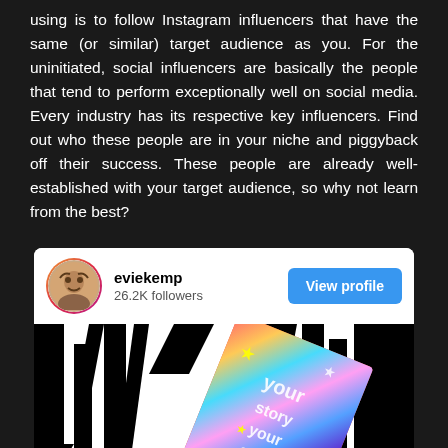using is to follow Instagram influencers that have the same (or similar) target audience as you. For the uninitiated, social influencers are basically the people that tend to perform exceptionally well on social media. Every industry has its respective key influencers. Find out who these people are in your niche and piggyback off their success. These people are already well-established with your target audience, so why not learn from the best?
[Figure (screenshot): Instagram profile card showing user 'eviekemp' with 26.2K followers, a 'View profile' button, and a post image with black and white geometric pattern and colorful card with text]